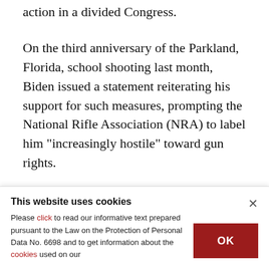action in a divided Congress.
On the third anniversary of the Parkland, Florida, school shooting last month, Biden issued a statement reiterating his support for such measures, prompting the National Rifle Association (NRA) to label him "increasingly hostile" toward gun rights.
"Today, I am calling on Congress to enact
This website uses cookies
Please click to read our informative text prepared pursuant to the Law on the Protection of Personal Data No. 6698 and to get information about the cookies used on our